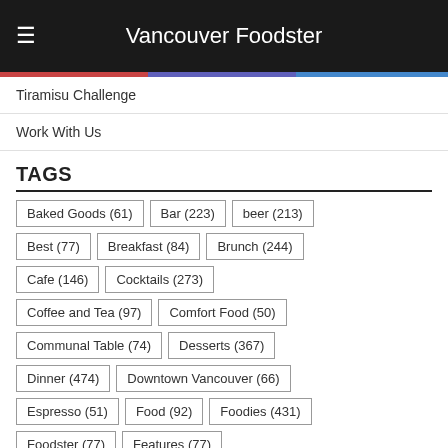Vancouver Foodster
Tiramisu Challenge
Work With Us
TAGS
Baked Goods (61)
Bar (223)
beer (213)
Best (77)
Breakfast (84)
Brunch (244)
Cafe (146)
Cocktails (273)
Coffee and Tea (97)
Comfort Food (50)
Communal Table (74)
Desserts (367)
Dinner (474)
Downtown Vancouver (66)
Espresso (51)
Food (92)
Foodies (431)
Foodster (77)
Features (77)